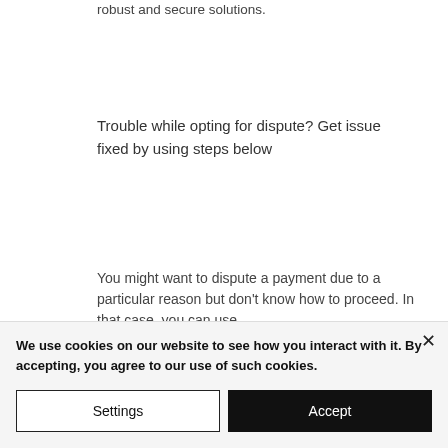robust and secure solutions.
Trouble while opting for dispute? Get issue fixed by using steps below
You might want to dispute a payment due to a particular reason but don't know how to proceed. In that case, you can use
We use cookies on our website to see how you interact with it. By accepting, you agree to our use of such cookies.
Settings
Accept